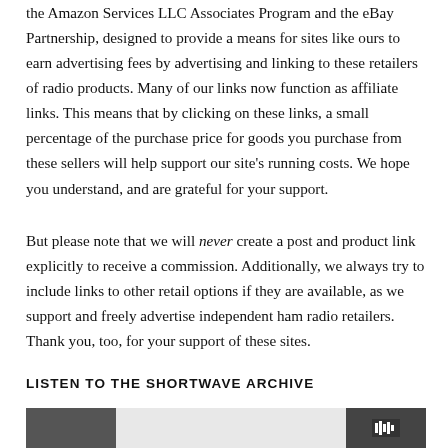the Amazon Services LLC Associates Program and the eBay Partnership, designed to provide a means for sites like ours to earn advertising fees by advertising and linking to these retailers of radio products. Many of our links now function as affiliate links. This means that by clicking on these links, a small percentage of the purchase price for goods you purchase from these sellers will help support our site's running costs. We hope you understand, and are grateful for your support.
But please note that we will never create a post and product link explicitly to receive a commission. Additionally, we always try to include links to other retail options if they are available, as we support and freely advertise independent ham radio retailers. Thank you, too, for your support of these sites.
LISTEN TO THE SHORTWAVE ARCHIVE
[Figure (screenshot): Partial view of a media player or archive interface showing a dark thumbnail on the left and playback controls on the right]